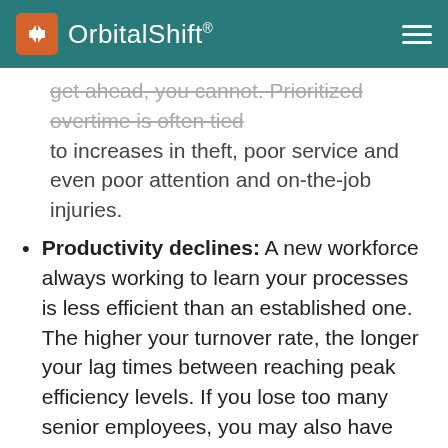OrbitalShift®
get ahead, you cannot. Prioritized overtime is often tied to increases in theft, poor service and even poor attention and on-the-job injuries.
Productivity declines: A new workforce always working to learn your processes is less efficient than an established one. The higher your turnover rate, the longer your lag times between reaching peak efficiency levels. If you lose too many senior employees, you may also have lower peaks.
Client continuity: What happens when your customers are always working with someone new? In many cases, this means the level of service they receive remains low. For some industries, like B2B sales, clients will see turnover as a red flag indicating that your business cannot be trusted.